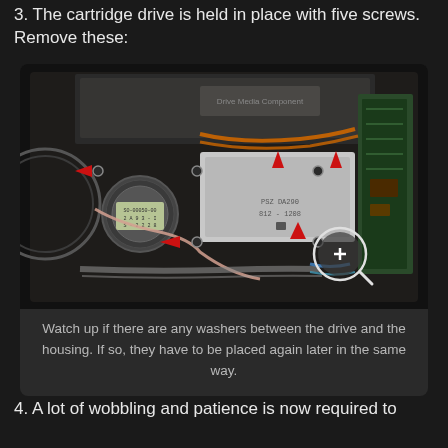3. The cartridge drive is held in place with five screws. Remove these:
[Figure (photo): Interior of an electronic device showing a cartridge drive mechanism with red arrows pointing to five screw locations. The drive has visible wiring (orange, pink, blue, white ribbon cables), a motor, circuit board on the right side, and a magnified circle highlighting one of the screws in the lower right area.]
Watch up if there are any washers between the drive and the housing. If so, they have to be placed again later in the same way.
4. A lot of wobbling and patience is now required to